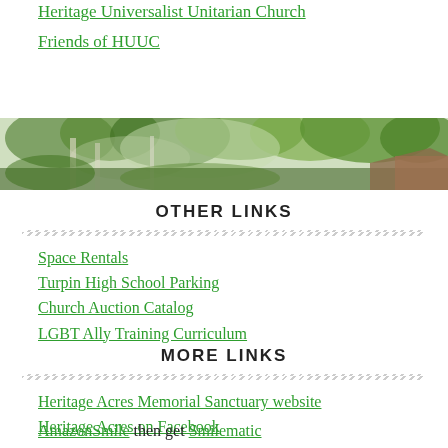Heritage Universalist Unitarian Church
Friends of HUUC
[Figure (photo): Outdoor photo of trees and foliage with a building roof visible at the right edge, natural green scenery]
OTHER LINKS
Space Rentals
Turpin High School Parking
Church Auction Catalog
LGBT Ally Training Curriculum
MORE LINKS
Heritage Acres Memorial Sanctuary website
Heritage Acres on Facebook
AmazonSmile then get Smilematio